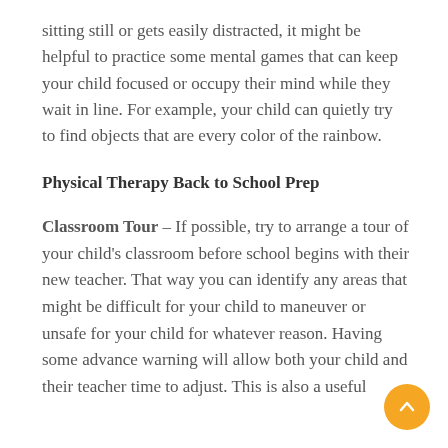sitting still or gets easily distracted, it might be helpful to practice some mental games that can keep your child focused or occupy their mind while they wait in line. For example, your child can quietly try to find objects that are every color of the rainbow.
Physical Therapy Back to School Prep
Classroom Tour – If possible, try to arrange a tour of your child's classroom before school begins with their new teacher. That way you can identify any areas that might be difficult for your child to maneuver or unsafe for your child for whatever reason. Having some advance warning will allow both your child and their teacher time to adjust. This is also a useful